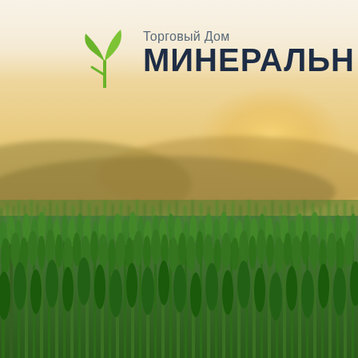[Figure (illustration): Background photo of a wheat field at sunset/golden hour. The lower half shows dense green wheat stalks in sharp focus, while the upper half shows a blurred golden sky with distant rolling hills. Over the photo, a logo is displayed: a green plant/sprout icon on the left, and Russian text 'Торговый Дом' (small, gray) above 'МИНЕРАЛЬН' (large, dark navy, bold).]